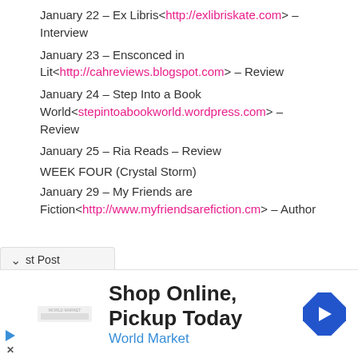January 22 – Ex Libris<http://exlibriskate.com> – Interview
January 23 – Ensconced in Lit<http://cahreviews.blogspot.com> – Review
January 24 – Step Into a Book World<stepintoabookworld.wordpress.com> – Review
January 25 – Ria Reads – Review
WEEK FOUR (Crystal Storm)
January 29 – My Friends are Fiction<http://www.myfriendsarefiction.cm> – Author
st Post
[Figure (screenshot): Advertisement banner: Shop Online, Pickup Today – World Market, with navigation arrow icon and World Market logo]